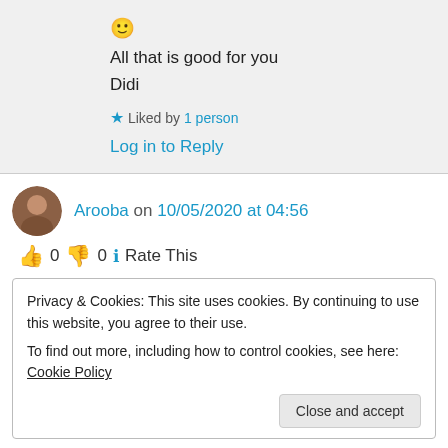🙂 All that is good for you Didi
★ Liked by 1 person
Log in to Reply
Arooba on 10/05/2020 at 04:56
👍 0 👎 0 ℹ Rate This
Privacy & Cookies: This site uses cookies. By continuing to use this website, you agree to their use.
To find out more, including how to control cookies, see here: Cookie Policy
Close and accept
unshine award/